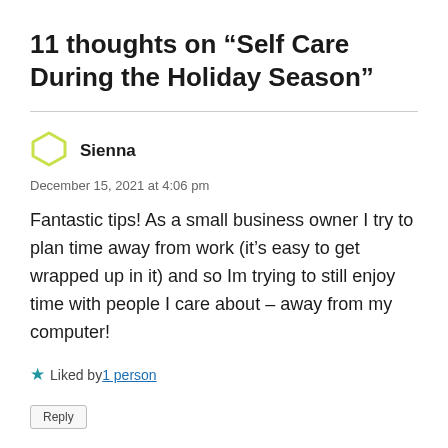11 thoughts on “Self Care During the Holiday Season”
Sienna
December 15, 2021 at 4:06 pm
Fantastic tips! As a small business owner I try to plan time away from work (it’s easy to get wrapped up in it) and so Im trying to still enjoy time with people I care about – away from my computer!
Liked by 1 person